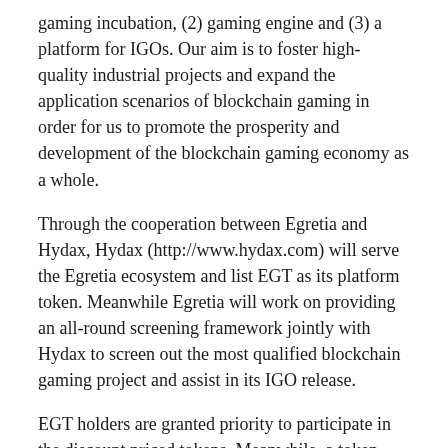gaming incubation, (2) gaming engine and (3) a platform for IGOs. Our aim is to foster high-quality industrial projects and expand the application scenarios of blockchain gaming in order for us to promote the prosperity and development of the blockchain gaming economy as a whole.
Through the cooperation between Egretia and Hydax, Hydax (http://www.hydax.com) will serve the Egretia ecosystem and list EGT as its platform token. Meanwhile Egretia will work on providing an all-round screening framework jointly with Hydax to screen out the most qualified blockchain gaming project and assist in its IGO release.
EGT holders are granted priority to participate in the discount priced tokens. Meanwhile, a token burn program will be launched, which means EGT will be partly burning